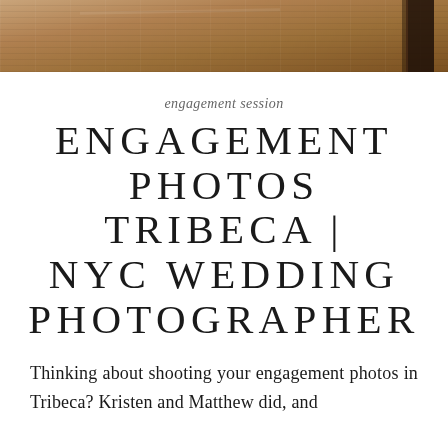[Figure (photo): Partial photo of a building facade with warm brown/terracotta tones and dark iron railing visible at the right edge]
engagement session
ENGAGEMENT PHOTOS TRIBECA | NYC WEDDING PHOTOGRAPHER
Thinking about shooting your engagement photos in Tribeca? Kristen and Matthew did, and